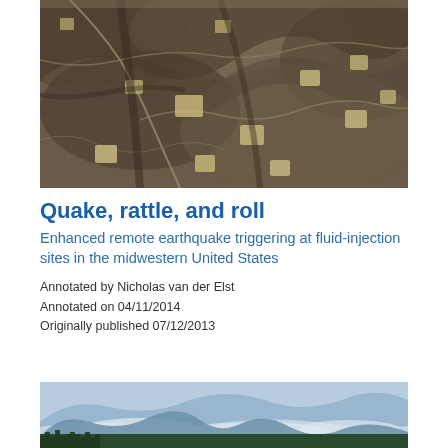[Figure (photo): Aerial photograph of a hilly landscape with oil/gas well pads, roads, and cleared areas amid brown terrain]
Quake, rattle, and roll
Enhanced remote earthquake triggering at fluid-injection sites in the midwestern United States
Annotated by Nicholas van der Elst
Annotated on 04/11/2014
Originally published 07/12/2013
[Figure (photo): Aerial or landscape photo of misty blue mountains with forest in foreground and clouds in valley]